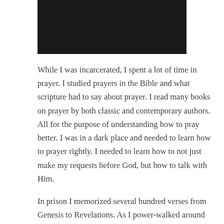[Figure (photo): Black rectangle image at top of page]
While I was incarcerated, I spent a lot of time in prayer.  I studied prayers in the Bible and what scripture had to say about prayer.  I read many books on prayer by both classic and contemporary authors.  All for the purpose of understanding how to pray better.  I was in a dark place and needed to learn how to prayer rightly.  I needed to learn how to not just make my requests before God, but how to talk with Him.
In prison I memorized several hundred verses from Genesis to Revelations.  As I power-walked around the track on the back forty I would recite the scriptures